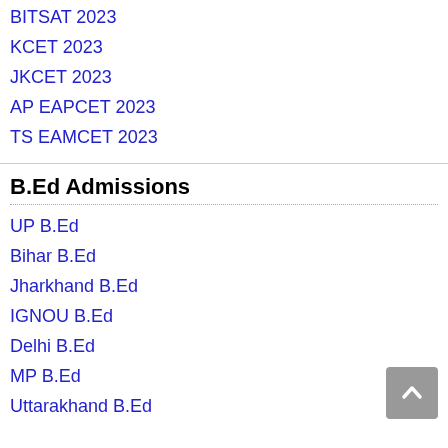BITSAT 2023
KCET 2023
JKCET 2023
AP EAPCET 2023
TS EAMCET 2023
B.Ed Admissions
UP B.Ed
Bihar B.Ed
Jharkhand B.Ed
IGNOU B.Ed
Delhi B.Ed
MP B.Ed
Uttarakhand B.Ed